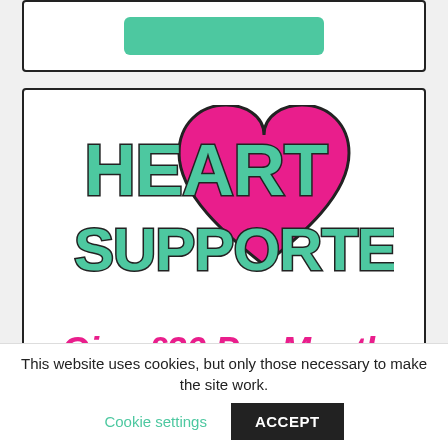[Figure (logo): Heart Supporter logo with teal text 'HEART SUPPORTER' and a pink heart graphic]
Give £20 Per Month
Heart Supporters are vital to to our Heart Heroes. By becoming a Heart Supporter you can provide our
This website uses cookies, but only those necessary to make the site work. Cookie settings ACCEPT